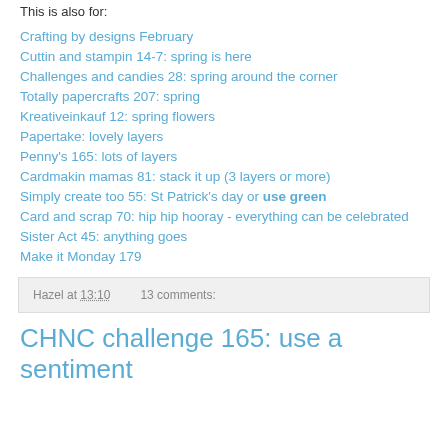This is also for:
Crafting by designs February
Cuttin and stampin 14-7: spring is here
Challenges and candies 28: spring around the corner
Totally papercrafts 207: spring
Kreativeinkauf 12: spring flowers
Papertake: lovely layers
Penny's 165: lots of layers
Cardmakin mamas 81: stack it up (3 layers or more)
Simply create too 55: St Patrick's day or use green
Card and scrap 70: hip hip hooray - everything can be celebrated
Sister Act 45: anything goes
Make it Monday 179
Hazel at 13:10    13 comments:
CHNC challenge 165: use a sentiment